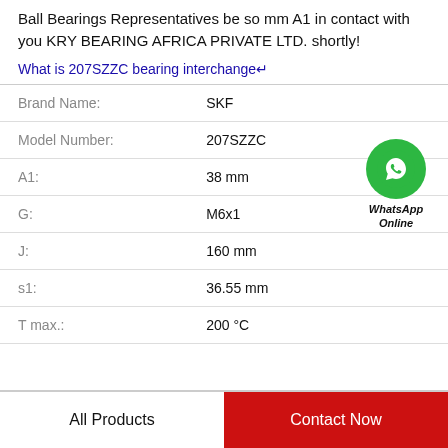Ball Bearings Representatives be so mm A1 in contact with you KRY BEARING AFRICA PRIVATE LTD. shortly!
What is 207SZZC bearing interchange↵
| Property | Value |
| --- | --- |
| Brand Name: | SKF |
| Model Number: | 207SZZC |
| A1: | 38 mm |
| G: | M6x1 |
| J: | 160 mm |
| s1: | 36.55 mm |
| T max.: | 200 °C |
[Figure (logo): WhatsApp Online green phone icon with text WhatsApp Online]
All Products
Contact Now